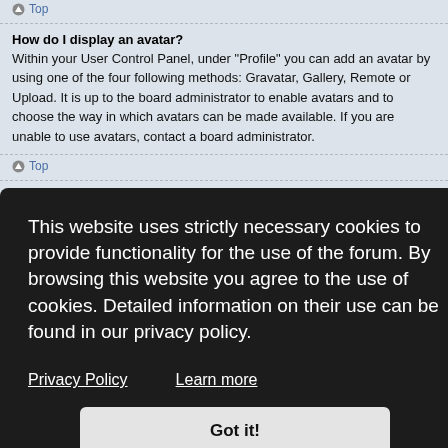Top
How do I display an avatar?
Within your User Control Panel, under "Profile" you can add an avatar by using one of the four following methods: Gravatar, Gallery, Remote or Upload. It is up to the board administrator to enable avatars and to choose the way in which avatars can be made available. If you are unable to use avatars, contact a board administrator.
Top
This website uses strictly necessary cookies to provide functionality for the use of the forum. By browsing this website you agree to the use of cookies. Detailed information on their use can be found in our privacy policy.
Privacy Policy   Learn more
Got it!
...ts you . In hey are g is and the
il form, malicious
Top